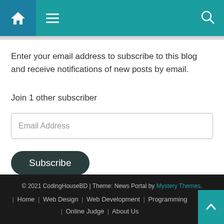Navigation bar with home icon, menu icon, and search icon
Enter your email address to subscribe to this blog and receive notifications of new posts by email.
Join 1 other subscriber
Email Address (input field)
Subscribe (button)
© 2021 CodingHouseBD | Theme: News Portal by Mystery Themes. | Home | Web Design | Web Development | Programming | Online Judge | About Us